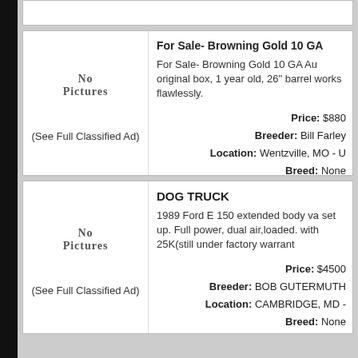For Sale- Browning Gold 10 GA
For Sale- Browning Gold 10 GA Au original box, 1 year old, 26" barrel works flawlessly.
Price: $880
Breeder: Bill Farley
Location: Wentzville, MO - U
Breed: None
Posted Date: 10/26/2001
DOG TRUCK
1989 Ford E 150 extended body va set up. Full power, dual air,loaded. with 25K(still under factory warrant
Price: $4500
Breeder: BOB GUTERMUTH
Location: CAMBRIDGE, MD -
Breed: None
Posted Date: 10/20/2001